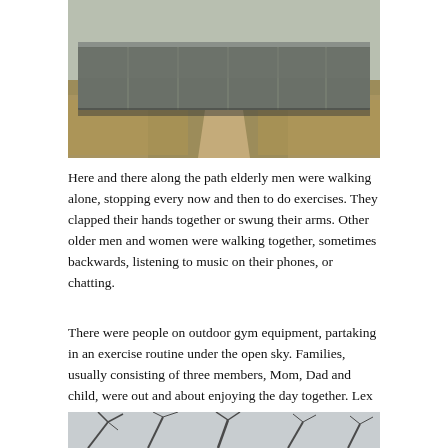[Figure (photo): A low concrete or metal structure spanning across a dirt path through dry grassland, viewed from the front]
Here and there along the path elderly men were walking alone, stopping every now and then to do exercises. They clapped their hands together or swung their arms. Other older men and women were walking together, sometimes backwards, listening to music on their phones, or chatting.
There were people on outdoor gym equipment, partaking in an exercise routine under the open sky. Families, usually consisting of three members, Mom, Dad and child, were out and about enjoying the day together. Lex and I walked for a long time, eventually crossing the road on the pedestrian bridge and walking home.
[Figure (photo): Bare tree branches against a grey sky, bottom portion of image visible]